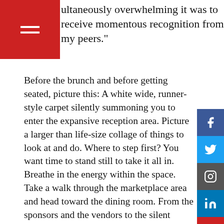ultaneously overwhelming it was to receive momentous recognition from my peers."
Before the brunch and before getting seated, picture this: A white wide, runner-style carpet silently summoning you to enter the expansive reception area. Picture a larger than life-size collage of things to look at and do. Where to step first? You want time to stand still to take it all in. Breathe in the energy within the space. Take a walk through the marketplace area and head toward the dining room. From the sponsors and the vendors to the silent auction and the photo gallery of the 2016 award winners, it was a full house, so to speak.
Picture yourself visiting the Media Wall and